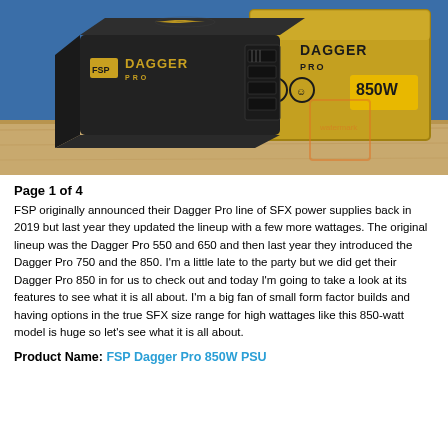[Figure (photo): FSP Dagger Pro 850W SFX power supply unit, a small black box-shaped PSU with gold DAGGER PRO branding, shown on a table in front of its retail box which also reads DAGGER PRO 850W.]
Page 1 of 4
FSP originally announced their Dagger Pro line of SFX power supplies back in 2019 but last year they updated the lineup with a few more wattages. The original lineup was the Dagger Pro 550 and 650 and then last year they introduced the Dagger Pro 750 and the 850. I'm a little late to the party but we did get their Dagger Pro 850 in for us to check out and today I'm going to take a look at its features to see what it is all about. I'm a big fan of small form factor builds and having options in the true SFX size range for high wattages like this 850-watt model is huge so let's see what it is all about.
Product Name: FSP Dagger Pro 850W PSU